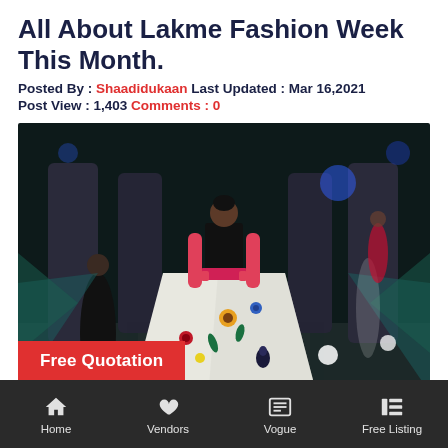All About Lakme Fashion Week This Month.
Posted By : Shaadidukaan Last Updated : Mar 16,2021
Post View : 1,403 Comments : 0
[Figure (photo): Fashion model on runway wearing white floral ball gown with black strapless top and pink gloves, with stage lighting and background models. A red 'Free Quotation' button overlays the bottom-left of the image.]
Home   Vendors   Vogue   Free Listing